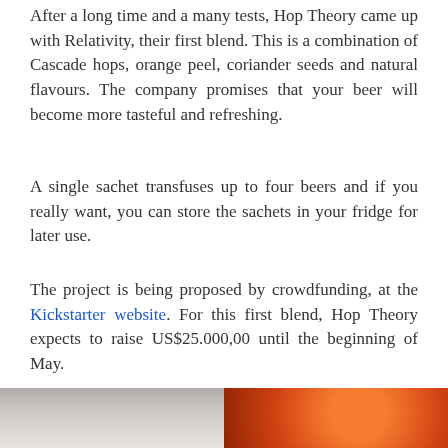After a long time and a many tests, Hop Theory came up with Relativity, their first blend. This is a combination of Cascade hops, orange peel, coriander seeds and natural flavours. The company promises that your beer will become more tasteful and refreshing.
A single sachet transfuses up to four beers and if you really want, you can store the sachets in your fridge for later use.
The project is being proposed by crowdfunding, at the Kickstarter website. For this first blend, Hop Theory expects to raise US$25.000,00 until the beginning of May.
Would you think this could work?
[Figure (photo): Two partial photos at the bottom of the page: left side shows a blurred gray/beige image (possibly a beer-related product or person), right side shows a halved orange with visible citrus flesh and seeds.]